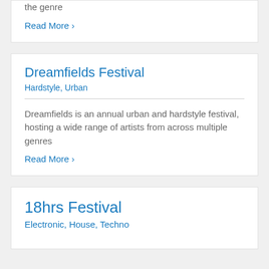the genre
Read More ›
Dreamfields Festival
Hardstyle, Urban
Dreamfields is an annual urban and hardstyle festival, hosting a wide range of artists from across multiple genres
Read More ›
18hrs Festival
Electronic, House, Techno